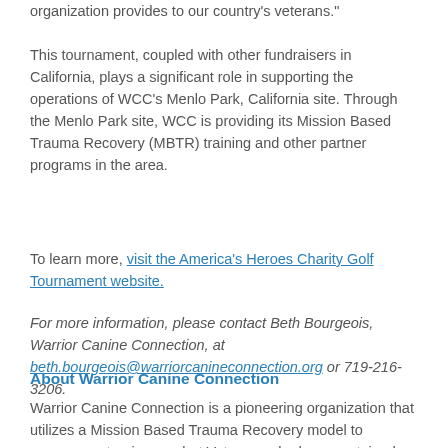organization provides to our country's veterans."
This tournament, coupled with other fundraisers in California, plays a significant role in supporting the operations of WCC's Menlo Park, California site. Through the Menlo Park site, WCC is providing its Mission Based Trauma Recovery (MBTR) training and other partner programs in the area.
To learn more, visit the America's Heroes Charity Golf Tournament website.
For more information, please contact Beth Bourgeois, Warrior Canine Connection, at beth.bourgeois@warriorcanineconnection.org or 719-216-3206.
About Warrior Canine Connection
Warrior Canine Connection is a pioneering organization that utilizes a Mission Based Trauma Recovery model to empower returning combat Veterans who have sustained physical and psychological wounds while in service to our